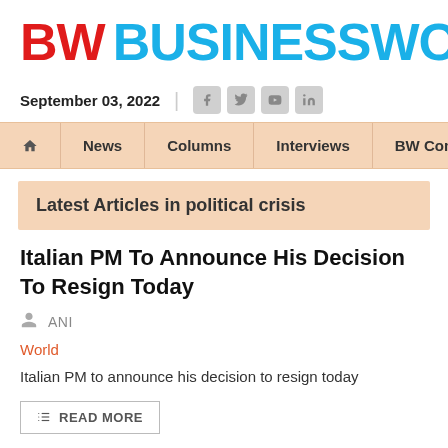BW BUSINESSWORLD
September 03, 2022
News | Columns | Interviews | BW Communities
Latest Articles in political crisis
Italian PM To Announce His Decision To Resign Today
ANI
World
Italian PM to announce his decision to resign today
READ MORE